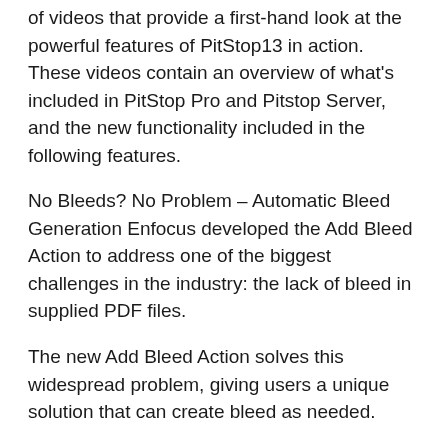of videos that provide a first-hand look at the powerful features of PitStop13 in action. These videos contain an overview of what's included in PitStop Pro and Pitstop Server, and the new functionality included in the following features.
No Bleeds? No Problem – Automatic Bleed Generation Enfocus developed the Add Bleed Action to address one of the biggest challenges in the industry: the lack of bleed in supplied PDF files.
The new Add Bleed Action solves this widespread problem, giving users a unique solution that can create bleed as needed.
Enfocus-Exclusive Automatic Bleed Generation Beta customer Kerry Heyen, of Capitol Blue Print in Springfield, Illinois, says: "We have so many customers that don't even know what a bleed is! For many jobs, it takes me